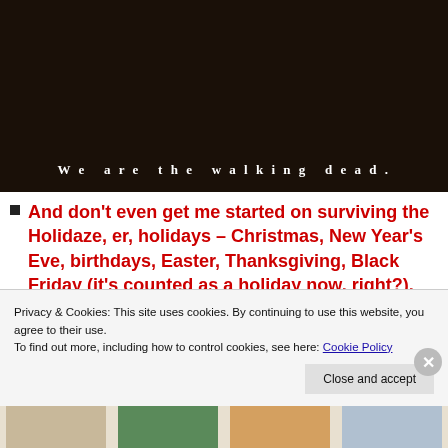[Figure (photo): Dark cinematic image of a person with subtitle text 'We are the walking dead.' overlaid in white bold letters]
And don't even get me started on surviving the Holidaze, er, holidays – Christmas, New Year's Eve, birthdays, Easter, Thanksgiving, Black Friday (it's counted as a holiday now, right?), actually I can do CyberMonday, and they're lined up to take me out for Valentine's Day…
Privacy & Cookies: This site uses cookies. By continuing to use this website, you agree to their use.
To find out more, including how to control cookies, see here: Cookie Policy
Close and accept